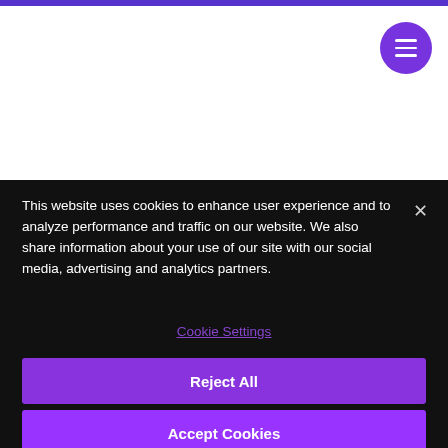[Figure (screenshot): Purple top navigation bar with circular purple menu button icon (hamburger) in the top right corner on white background]
This website uses cookies to enhance user experience and to analyze performance and traffic on our website. We also share information about your use of our site with our social media, advertising and analytics partners.
Cookie Settings
Reject All
Accept Cookies